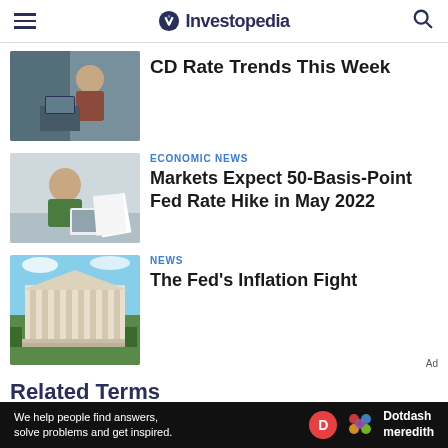Investopedia
[Figure (photo): Woman thinking at a computer in an office setting]
CD Rate Trends This Week
[Figure (photo): Man reading documents with laptop at home]
ECONOMIC NEWS
Markets Expect 50-Basis-Point Fed Rate Hike in May 2022
[Figure (photo): Federal Reserve building exterior]
NEWS
The Fed's Inflation Fight
Related Terms
Ad
We help people find answers, solve problems and get inspired.
Dotdash meredith